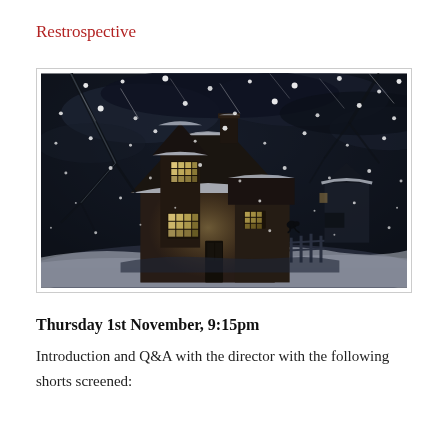Restrospective
[Figure (illustration): A dark, atmospheric illustration of a snow-covered cottage at night during a heavy snowstorm. The old stone house has warm glowing windows with a grid pattern, bare tree branches visible against dark stormy sky, and snow-covered rooftops. A fence and outbuildings are visible on the right side.]
Thursday 1st November, 9:15pm
Introduction and Q&A with the director with the following shorts screened: